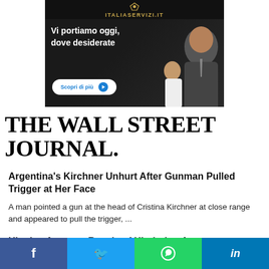[Figure (photo): Advertisement banner for italiaservizi.it - dark background with Italian text 'Vi portiamo oggi, dove desiderate' and 'Scopri di più' button, showing a man in suit and a woman]
THE WALL STREET JOURNAL.
Argentina's Kirchner Unhurt After Gunman Pulled Trigger at Her Face
A man pointed a gun at the head of Cristina Kirchner at close range and appeared to pull the trigger, ...
Ukraine Accuses Russia of Hindering Access to
[Figure (infographic): Social media share bar with Facebook, Twitter, WhatsApp, and LinkedIn buttons]